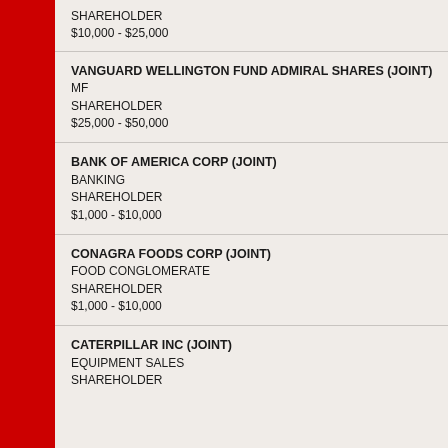Owners of Rent A Center Inc
SHAREHOLDER
$10,000 - $25,000
VANGUARD WELLINGTON FUND ADMIRAL SHARES (JOINT)
MF
SHAREHOLDER
$25,000 - $50,000
BANK OF AMERICA CORP (JOINT)
BANKING
SHAREHOLDER
$1,000 - $10,000
CONAGRA FOODS CORP (JOINT)
FOOD CONGLOMERATE
SHAREHOLDER
$1,000 - $10,000
CATERPILLAR INC (JOINT)
EQUIPMENT SALES
SHAREHOLDER
Bruce Voss
Board of Education
Bruce Voss
Board of Education
Bruce Voss
Board of Education
Bruce Voss
Board of Education
Bruce Voss
Board of Education